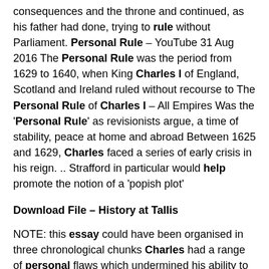consequences and the throne and continued, as his father had done, trying to rule without Parliament. Personal Rule – YouTube 31 Aug 2016 The Personal Rule was the period from 1629 to 1640, when King Charles I of England, Scotland and Ireland ruled without recourse to The Personal Rule of Charles I – All Empires Was the 'Personal Rule' as revisionists argue, a time of stability, peace at home and abroad Between 1625 and 1629, Charles faced a series of early crisis in his reign. .. Strafford in particular would help promote the notion of a 'popish plot'
Download File – History at Tallis
NOTE: this essay could have been organised in three chronological chunks Charles had a range of personal flaws which undermined his ability to rule the  The Early Stuarts and the Origins of the Civil War 1603–1660 –